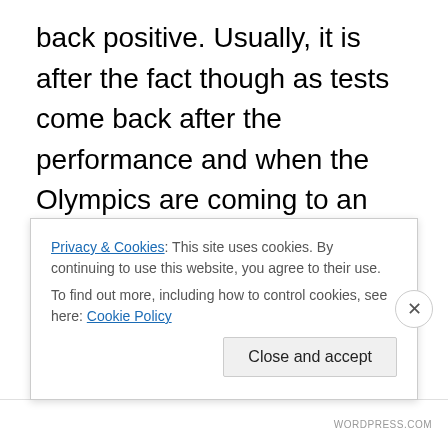back positive. Usually, it is after the fact though as tests come back after the performance and when the Olympics are coming to an end or are over athletes are then stripped. This year it has been slightly different though as PED tests have had an impact before the Olympics have even started. There have been revelations seemingly every week of another doping scandal where another Olympian is banned from the Olympics. No doping scandal has been bigger than that of Russia's though with the uncovering of a massive, state-sanctioned, doping ring throughout the Russian Olympic team. It is not the most
Privacy & Cookies: This site uses cookies. By continuing to use this website, you agree to their use.
To find out more, including how to control cookies, see here: Cookie Policy